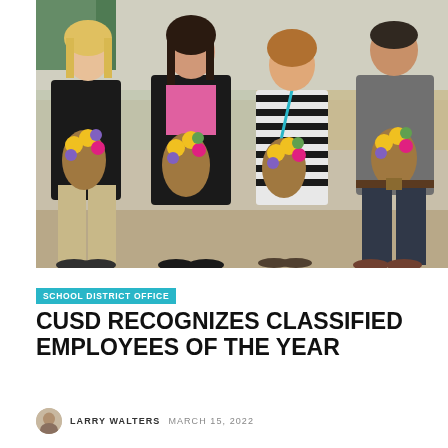[Figure (photo): Four people standing together holding flower bouquets wrapped in brown paper. They are in what appears to be a school or office setting. From left: a woman in black top and khaki pants with blonde hair, a woman in a black blazer with a pink patterned blouse, a woman in a black and white striped dress with a lanyard, and a man in a gray t-shirt and dark jeans.]
SCHOOL DISTRICT OFFICE
CUSD RECOGNIZES CLASSIFIED EMPLOYEES OF THE YEAR
LARRY WALTERS  MARCH 15, 2022